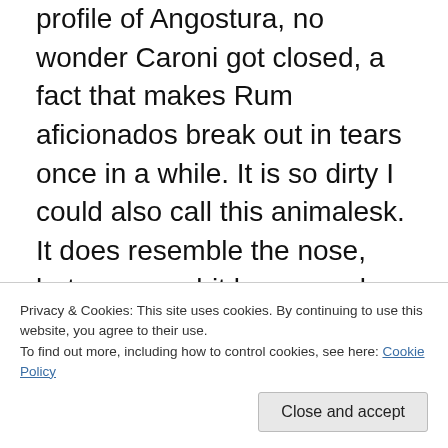profile of Angostura, no wonder Caroni got closed, a fact that makes Rum aficionados break out in tears once in a while. It is so dirty I could also call this animalesk. It does resemble the nose, but seems a bit less complex. Powdery dryness. The high strength is duly noted when my lips start burning a bit and some heat clings to the roof of my mouth. Is it a problem? No it's not. Blood comes out my nose. Just kidding. It does taste dryer than the nose lead me to believe. But when the dry spell passes, there is some residual toffee sweetness noticeable. In the taste, it
Privacy & Cookies: This site uses cookies. By continuing to use this website, you agree to their use.
To find out more, including how to control cookies, see here: Cookie Policy
Close and accept